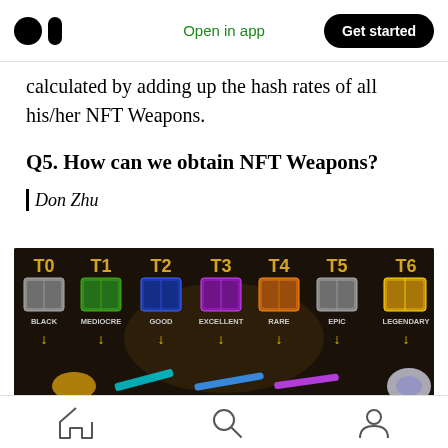Open in app  Get started
calculated by adding up the hash rates of all his/her NFT Weapons.
Q5. How can we obtain NFT Weapons?
| Don Zhu
[Figure (screenshot): Game screenshot showing weapon crate tiers: T0 BLACK, T1 MEDIOCRE, T2 GOOD, T3 EXCELLENT, T4 RARE, T5 EPIC, T6 LEGENDARY, each with a crate image and downward arrow, with weapon images at the bottom.]
Home  Search  Profile